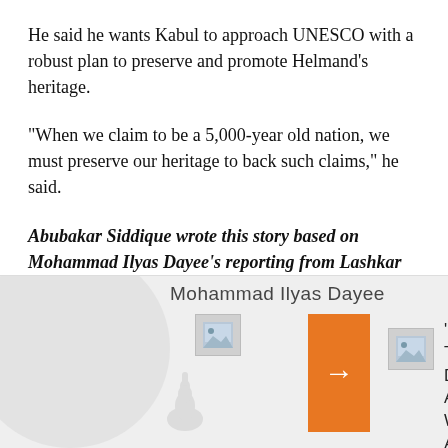He said he wants Kabul to approach UNESCO with a robust plan to preserve and promote Helmand’s heritage.
“When we claim to be a 5,000-year old nation, we must preserve our heritage to back such claims,” he said.
Abubakar Siddique wrote this story based on Mohammad Ilyas Dayee's reporting from Lashkar Gah, Helmand.
[Figure (screenshot): Related article card showing a link to an article titled '‘Better To Die’: Afghan Woman Accuses Taliban Official Of Rape, Forced Marriage', with an orange arrow navigation element and two image placeholders.]